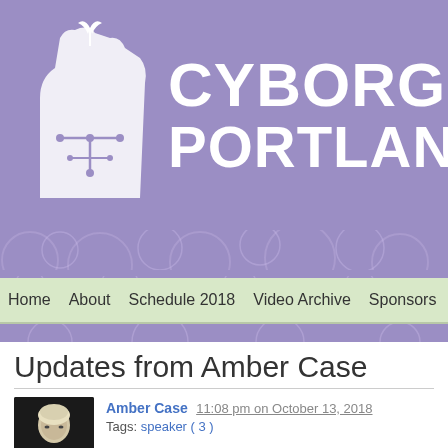[Figure (logo): CyborgCamp Portland 2018 banner with purple background, plant/circuit logo, and white text reading CYBORGCA... PORTLAND 20...]
Home  About  Schedule 2018  Video Archive  Sponsors  Cod...
Updates from Amber Case
Amber Case  11:08 pm on October 13, 2018
Tags: speaker ( 3 )
Announcing Shashi Jain as a mornin... CyborgCamp 2018!
We're excited to announce that Portland-based Shashi Jain will be speaking at CyborgCamp 2018! He will give a short talk on 3D printing and AI.

Shashi Jain is a Portland-based entrepreneur, technologist, startup mentor, and instructor. He currently